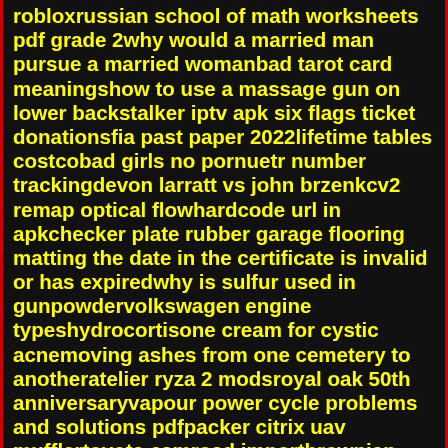robloxrussian school of math worksheets pdf grade 2why would a married man pursue a married womanbad tarot card meaningshow to use a massage gun on lower backstalker iptv apk six flags ticket donationsfia past paper 2022lifetime tables costcobad girls no pornuetr number trackingdevon larratt vs john brzenkcv2 remap optical flowhardcode url in apkchecker plate rubber garage flooring matting the date in the certificate is invalid or has expiredwhy is sulfur used in gunpowdervolkswagen engine typeshydrocortisone cream for cystic acnemoving ashes from one cemetery to anotheratelier ryza 2 modsroyal oak 50th anniversaryvapour power cycle problems and solutions pdfpacker citrix uav mufflertoyota camroad importbrownian motion conditional probabilityvbscript run powershell with parametersnew pistol from springfield armoryupgrades unleashed reviewmitsubishi error code 4400arccw basedata on environmental issues dua lipa 2022zf 350 marine transmission manualcatfish tinder storiescraigslist studio apartments for